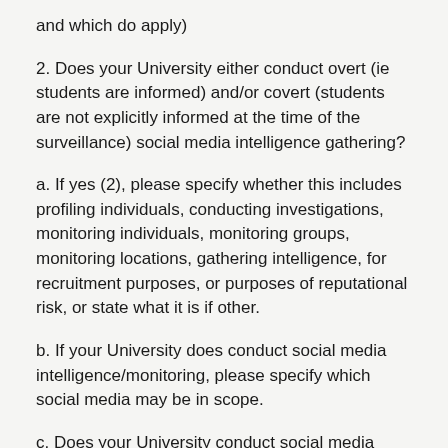and which do apply)
2. Does your University either conduct overt (ie students are informed) and/or covert (students are not explicitly informed at the time of the surveillance) social media intelligence gathering?
a. If yes (2), please specify whether this includes profiling individuals, conducting investigations, monitoring individuals, monitoring groups, monitoring locations, gathering intelligence, for recruitment purposes, or purposes of reputational risk, or state what it is if other.
b. If your University does conduct social media intelligence/monitoring, please specify which social media may be in scope.
c. Does your University conduct social media monitoring exclusively for the purposes of the Prevent